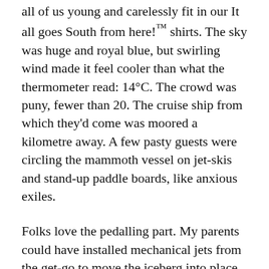all of us young and carelessly fit in our It all goes South from here!™ shirts. The sky was huge and royal blue, but swirling wind made it feel cooler than what the thermometer read: 14°C. The crowd was puny, fewer than 20. The cruise ship from which they'd come was moored a kilometre away. A few pasty guests were circling the mammoth vessel on jet-skis and stand-up paddle boards, like anxious exiles.
Folks love the pedalling part. My parents could have installed mechanical jets from the get-go to move the iceberg into place every day. But where's the drama in that? my dad would ask. Where's the high-viz, low-carbon emissions messaging, mi amigo? You can't do that with a brochure! Like many things up here, it was a mirage. Other than